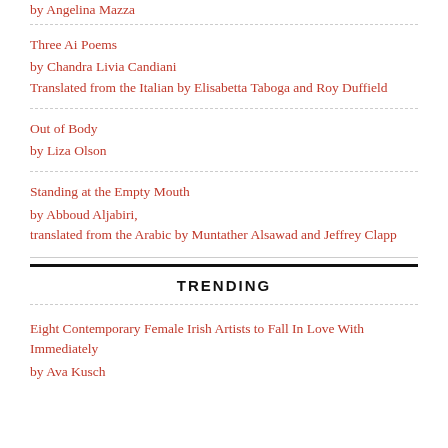by Angelina Mazza
Three Ai Poems
by Chandra Livia Candiani
Translated from the Italian by Elisabetta Taboga and Roy Duffield
Out of Body
by Liza Olson
Standing at the Empty Mouth
by Abboud Aljabiri,
translated from the Arabic by Muntather Alsawad and Jeffrey Clapp
TRENDING
Eight Contemporary Female Irish Artists to Fall In Love With Immediately
by Ava Kusch